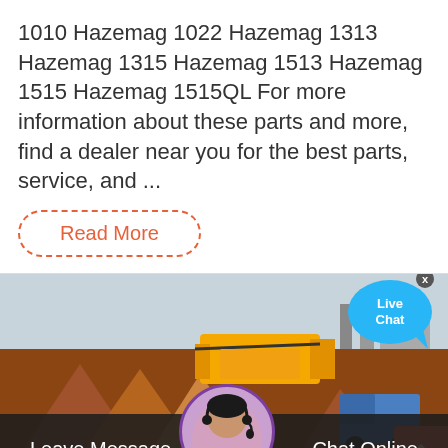1010 Hazemag 1022 Hazemag 1313 Hazemag 1315 Hazemag 1513 Hazemag 1515 Hazemag 1515QL For more information about these parts and more, find a dealer near you for the best parts, service, and ...
Read More
[Figure (photo): Industrial construction site with yellow crushing/screening machinery and large piles of reddish-brown aggregate material, with a blue truck visible in the background.]